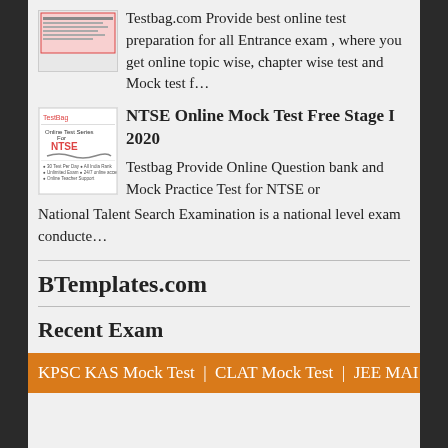Testbag.com Provide best online test preparation for all Entrance exam , where you get online topic wise, chapter wise test and Mock test f…
NTSE Online Mock Test Free Stage I 2020
Testbag Provide Online Question bank and Mock Practice Test for NTSE or National Talent Search Examination is a national level exam conducte…
BTemplates.com
Recent Exam
KPSC KAS Mock Test  |  CLAT Mock Test  |  JEE MAI